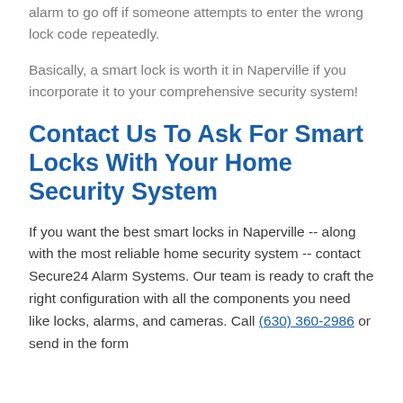alarm to go off if someone attempts to enter the wrong lock code repeatedly.
Basically, a smart lock is worth it in Naperville if you incorporate it to your comprehensive security system!
Contact Us To Ask For Smart Locks With Your Home Security System
If you want the best smart locks in Naperville -- along with the most reliable home security system -- contact Secure24 Alarm Systems. Our team is ready to craft the right configuration with all the components you need like locks, alarms, and cameras. Call (630) 360-2986 or send in the form